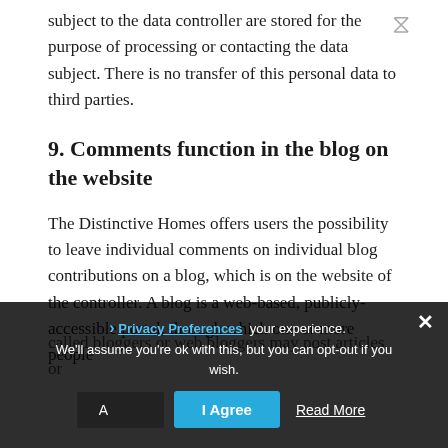subject to the data controller are stored for the purpose of processing or contacting the data subject. There is no transfer of this personal data to third parties.
9. Comments function in the blog on the website
The Distinctive Homes offers users the possibility to leave individual comments on individual blog contributions on a blog, which is on the website of the controller. A blog is a web-based, publicly-accessible portal, through which one or more people called bloggers or web bloggers may post articles or...
This website uses › Privacy Preferences your experience. We'll assume you're ok with this, but you can opt-out if you wish. Accept Read More